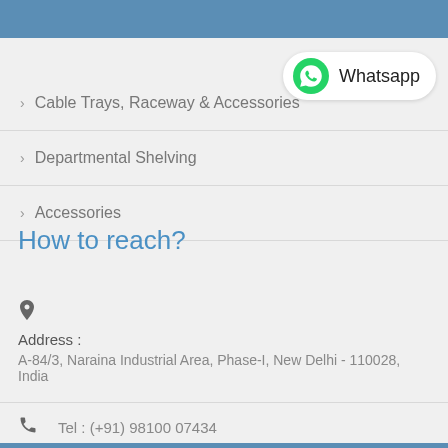[Figure (logo): WhatsApp button with green WhatsApp logo icon and text 'Whatsapp']
› Cable Trays, Raceway & Accessories
› Departmental Shelving
› Accessories
How to reach?
Address :
A-84/3, Naraina Industrial Area, Phase-I, New Delhi - 110028, India
Tel : (+91) 98100 07434